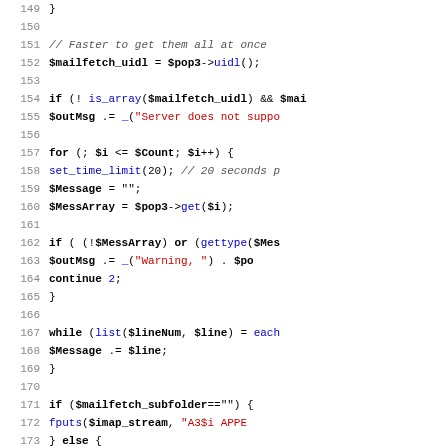[Figure (screenshot): PHP source code listing, lines 149-181, showing mail fetch logic with POP3 UIDL check, for loop, message array handling, while loop, IMAP append operations, and related conditional statements.]